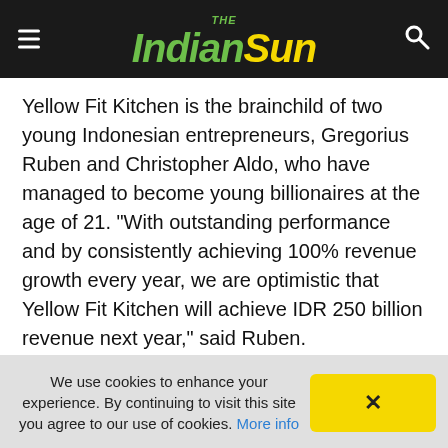The Indian Sun
Yellow Fit Kitchen is the brainchild of two young Indonesian entrepreneurs, Gregorius Ruben and Christopher Aldo, who have managed to become young billionaires at the age of 21. “With outstanding performance and by consistently achieving 100% revenue growth every year, we are optimistic that Yellow Fit Kitchen will achieve IDR 250 billion revenue next year,” said Ruben.
To date, Yellow Fit has recorded a revenue of IDR 150 billion by producing and distributing diet foods and healthy catering to 15 cities across Indonesia.
We use cookies to enhance your experience. By continuing to visit this site you agree to our use of cookies. More info